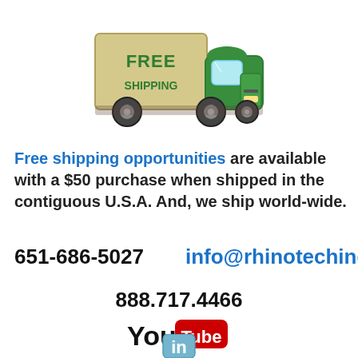[Figure (illustration): Green delivery truck with 'FREE SHIPPING' text on its side, cartoon style]
Free shipping opportunities are available with a $50 purchase when shipped in the contiguous U.S.A. And, we ship world-wide.
651-686-5027   info@rhinotechinc.com
888.717.4466
[Figure (logo): YouTube logo - 'You' in black bold text followed by 'Tube' in white text on a red rounded rectangle button]
[Figure (logo): LinkedIn logo - 'in' in white text on a light blue rounded square]